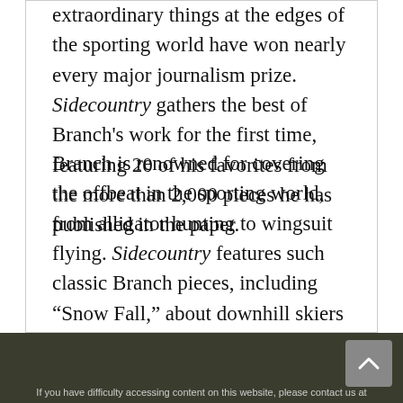extraordinary things at the edges of the sporting world have won nearly every major journalism prize. Sidecountry gathers the best of Branch's work for the first time, featuring 20 of his favorites from the more than 2,000 pieces he has published in the paper.
Branch is renowned for covering the offbeat in the sporting world, from alligator hunting to wingsuit flying. Sidecountry features such classic Branch pieces, including “Snow Fall,” about downhill skiers caught in an avalanche in Washington state, and “Dawn Wall,” about rock climbers trying to scale Yosemite’s famed El Capitan. In other articles
If you have difficulty accessing content on this website, please contact us at